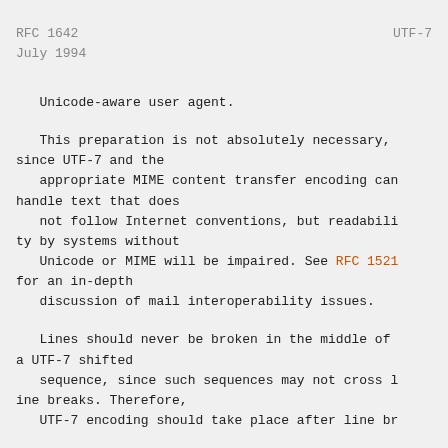RFC 1642                          UTF-7
July 1994
Unicode-aware user agent.
This preparation is not absolutely necessary, since UTF-7 and the appropriate MIME content transfer encoding can handle text that does not follow Internet conventions, but readability by systems without Unicode or MIME will be impaired. See RFC 1521 for an in-depth discussion of mail interoperability issues.
Lines should never be broken in the middle of a UTF-7 shifted sequence, since such sequences may not cross line breaks. Therefore,
UTF-7 encoding should take place after line br